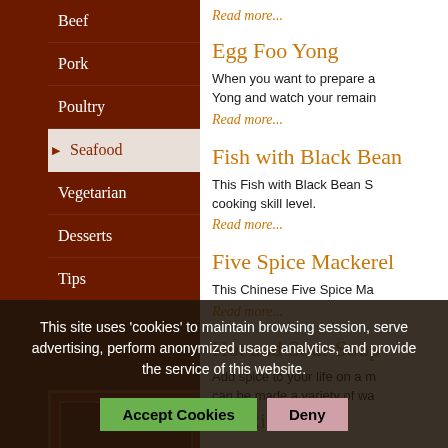Beef
Pork
Poultry
Seafood
Vegetarian
Desserts
Tips
Read more...
Egg Foo Yong
When you want to prepare a Yong and watch your remain
Read more...
Fish with Black Bean
This Fish with Black Bean S cooking skill level.
Read more...
Five Spice Mackerel
This Chinese Five Spice Ma
Read more...
Hot and Sour Soup
Add spice to your life on a m can be made a variety of wa
Other Useful Sites
JapaneseRecipes
ThaiRecipes
Hot Rice Salad
This site uses 'cookies' to maintain browsing session, serve advertising, perform anonymized usage analytics, and provide the service of this website.